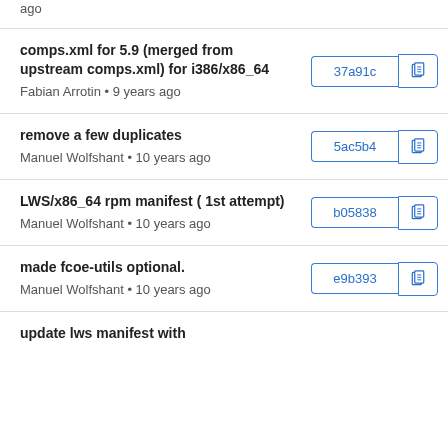ago
comps.xml for 5.9 (merged from upstream comps.xml) for i386/x86_64
Fabian Arrotin • 9 years ago
37a91c
remove a few duplicates
Manuel Wolfshant • 10 years ago
5ac5b4
LWS/x86_64 rpm manifest ( 1st attempt)
Manuel Wolfshant • 10 years ago
b05838
made fcoe-utils optional.
Manuel Wolfshant • 10 years ago
e9b393
update lws manifest with